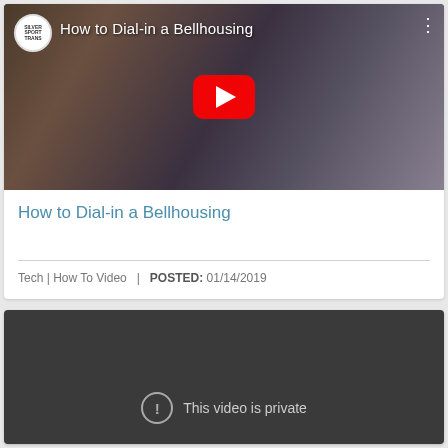[Figure (screenshot): YouTube video thumbnail showing a man in a red cap working on a vehicle undercarriage, with channel logo and title overlay 'How to Dial-in a Bellhousing', and a red YouTube play button in the center.]
How to Dial-in a Bellhousing
Tech | How To Video   |   POSTED: 01/14/2019
[Figure (screenshot): Dark grey video player showing 'This video is private' message with an exclamation mark icon.]